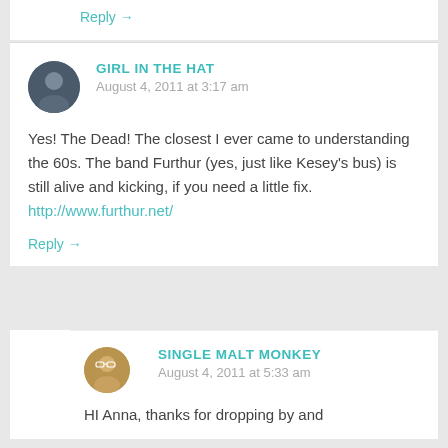Reply →
GIRL IN THE HAT
August 4, 2011 at 3:17 am
Yes! The Dead! The closest I ever came to understanding the 60s. The band Furthur (yes, just like Kesey's bus) is still alive and kicking, if you need a little fix. http://www.furthur.net/
Reply →
SINGLE MALT MONKEY
August 4, 2011 at 5:33 am
HI Anna, thanks for dropping by and